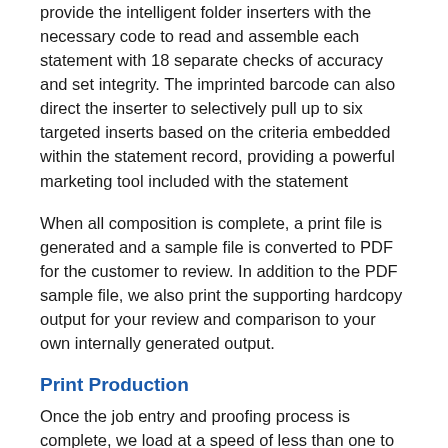provide the intelligent folder inserters with the necessary code to read and assemble each statement with 18 separate checks of accuracy and set integrity. The imprinted barcode can also direct the inserter to selectively pull up to six targeted inserts based on the criteria embedded within the statement record, providing a powerful marketing tool included with the statement
When all composition is complete, a print file is generated and a sample file is converted to PDF for the customer to review. In addition to the PDF sample file, we also print the supporting hardcopy output for your review and comparison to your own internally generated output.
Print Production
Once the job entry and proofing process is complete, we load at a speed of less than one to print file for...